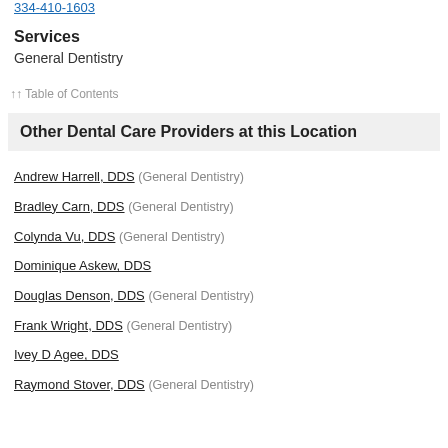334-410-1603
Services
General Dentistry
↑↑ Table of Contents
Other Dental Care Providers at this Location
Andrew Harrell, DDS (General Dentistry)
Bradley Carn, DDS (General Dentistry)
Colynda Vu, DDS (General Dentistry)
Dominique Askew, DDS
Douglas Denson, DDS (General Dentistry)
Frank Wright, DDS (General Dentistry)
Ivey D Agee, DDS
Raymond Stover, DDS (General Dentistry)